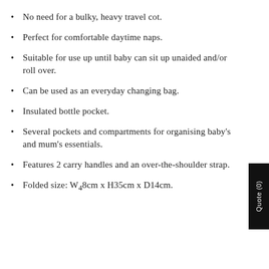No need for a bulky, heavy travel cot.
Perfect for comfortable daytime naps.
Suitable for use up until baby can sit up unaided and/or roll over.
Can be used as an everyday changing bag.
Insulated bottle pocket.
Several pockets and compartments for organising baby's and mum's essentials.
Features 2 carry handles and an over-the-shoulder strap.
Folded size: W48cm x H35cm x D14cm.